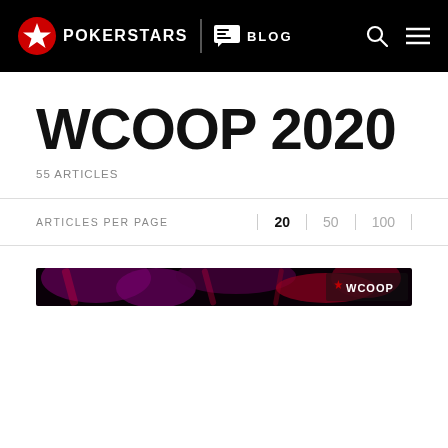PokerStars Blog
WCOOP 2020
55 ARTICLES
ARTICLES PER PAGE  20  50  100
[Figure (photo): WCOOP 2020 banner image with dark purple and red background with WCOOP logo text on the right side]